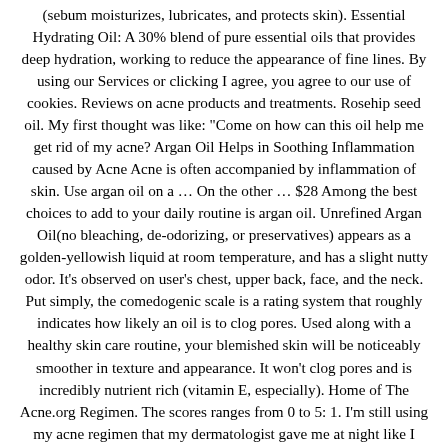(sebum moisturizes, lubricates, and protects skin). Essential Hydrating Oil: A 30% blend of pure essential oils that provides deep hydration, working to reduce the appearance of fine lines. By using our Services or clicking I agree, you agree to our use of cookies. Reviews on acne products and treatments. Rosehip seed oil. My first thought was like: "Come on how can this oil help me get rid of my acne? Argan Oil Helps in Soothing Inflammation caused by Acne Acne is often accompanied by inflammation of skin. Use argan oil on a … On the other … $28 Among the best choices to add to your daily routine is argan oil. Unrefined Argan Oil(no bleaching, de-odorizing, or preservatives) appears as a golden-yellowish liquid at room temperature, and has a slight nutty odor. It's observed on user's chest, upper back, face, and the neck. Put simply, the comedogenic scale is a rating system that roughly indicates how likely an oil is to clog pores. Used along with a healthy skin care routine, your blemished skin will be noticeably smoother in texture and appearance. It won't clog pores and is incredibly nutrient rich (vitamin E, especially). Home of The Acne.org Regimen. The scores ranges from 0 to 5: 1. I'm still using my acne regimen that my dermatologist gave me at night like I normally would, so I don't know if that's why my skin is still super oily, or if it's because it hasn't adjusted to the argan oil yet. Its high concentration of omega fatty acids and vitamin E could help to calm the skin and reduce redness caused by inflammation, as is the case with rosacea and other inflammatory skin problems like acne and eczema. I have a oily to combination skin and I have oily but